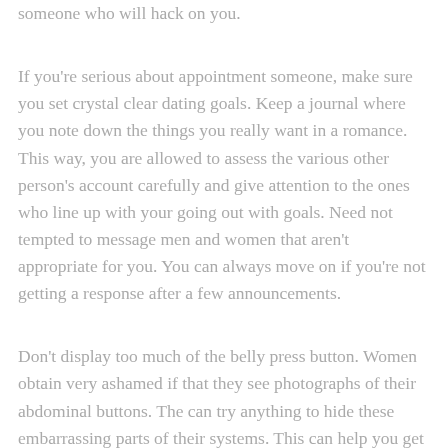someone who will hack on you.
If you're serious about appointment someone, make sure you set crystal clear dating goals. Keep a journal where you note down the things you really want in a romance. This way, you are allowed to assess the various other person's account carefully and give attention to the ones who line up with your going out with goals. Need not tempted to message men and women that aren't appropriate for you. You can always move on if you're not getting a response after a few announcements.
Don't display too much of the belly press button. Women obtain very ashamed if that they see photographs of their abdominal buttons. The can try anything to hide these embarrassing parts of their systems. This can help you get in trouble. For anybody